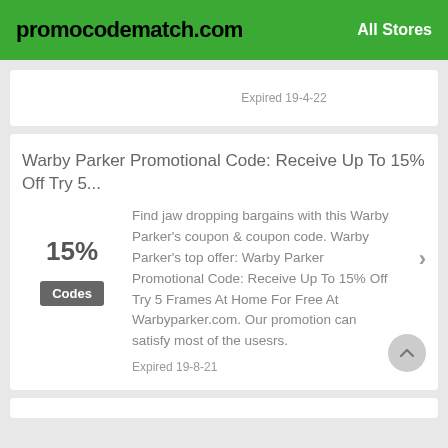promocodematch.com  All Stores
Expired 19-4-22
Warby Parker Promotional Code: Receive Up To 15% Off Try 5...
15%
Codes
Find jaw dropping bargains with this Warby Parker's coupon & coupon code. Warby Parker's top offer: Warby Parker Promotional Code: Receive Up To 15% Off Try 5 Frames At Home For Free At Warbyparker.com. Our promotion can satisfy most of the usesrs.
Expired 19-8-21